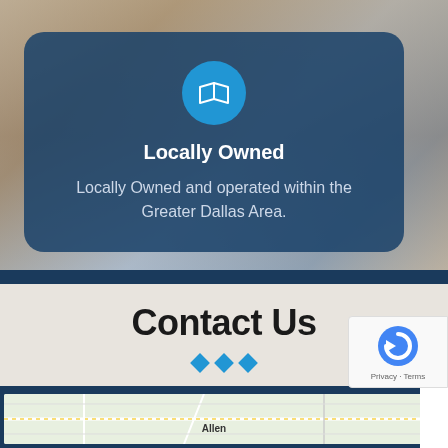[Figure (photo): Background photo of hands/workspace in muted warm and cool tones]
[Figure (illustration): Open book / map icon in white on a bright blue circle, centered on dark blue card]
Locally Owned
Locally Owned and operated within the Greater Dallas Area.
Contact Us
[Figure (illustration): Three blue diamond decorative dividers]
[Figure (map): Map showing Allen area with road network, dark blue border strip]
[Figure (other): Google reCAPTCHA badge with circular arrow logo and Privacy - Terms text]